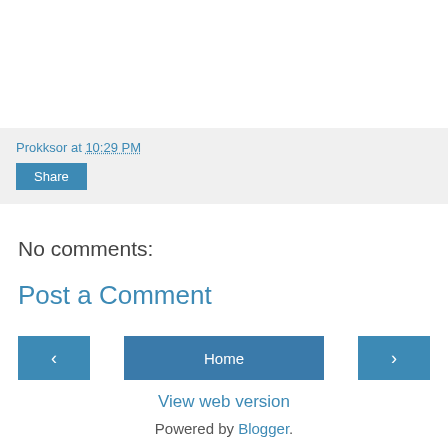Prokksor at 10:29 PM
Share
No comments:
Post a Comment
‹  Home  ›
View web version
Powered by Blogger.